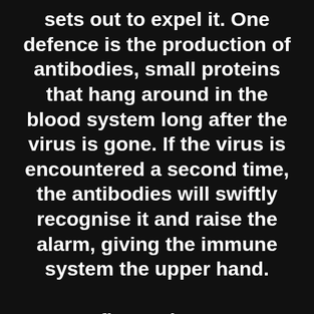sets out to expel it. One defence is the production of antibodies, small proteins that hang around in the blood system long after the virus is gone. If the virus is encountered a second time, the antibodies will swiftly recognise it and raise the alarm, giving the immune system the upper hand.
At first, Price was encouraged. In a trial that involved several hundred people, those vaccinated with JH virus had eight times fewer colds than those unvaccinated. N...